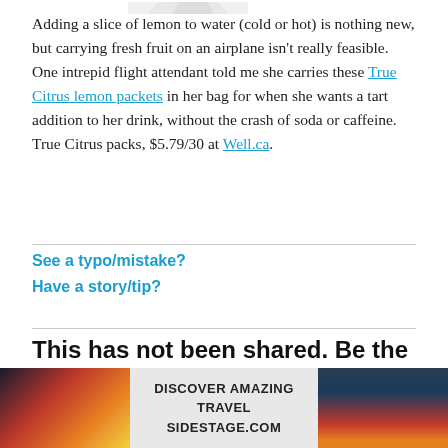[Figure (illustration): Partial image of a product visible at the very top of the page]
Adding a slice of lemon to water (cold or hot) is nothing new, but carrying fresh fruit on an airplane isn't really feasible. One intrepid flight attendant told me she carries these True Citrus lemon packets in her bag for when she wants a tart addition to her drink, without the crash of soda or caffeine. True Citrus packs, $5.79/30 at Well.ca.
See a typo/mistake?
Have a story/tip?
This has not been shared. Be the first!
[Figure (screenshot): Advertisement banner for Sidestage.com with text DISCOVER AMAZING TRAVEL SIDESTAGE.COM, flanked by landscape photos]